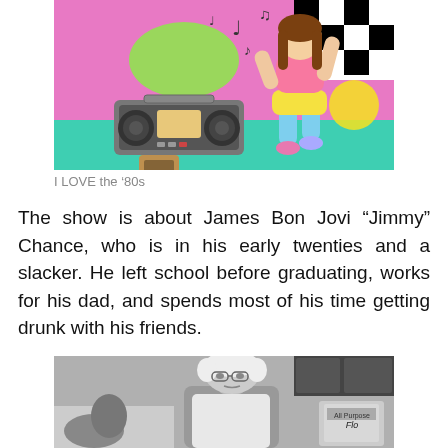[Figure (illustration): Colorful 80s-style cartoon illustration showing a girl dancing with a boombox on a pink/teal background with checkerboard pattern and music notes]
I LOVE the ‘80s
The show is about James Bon Jovi “Jimmy” Chance, who is in his early twenties and a slacker. He left school before graduating, works for his dad, and spends most of his time getting drunk with his friends.
[Figure (photo): Black and white photo of an elderly woman with white curly hair and glasses, wearing an apron, standing in what appears to be a kitchen]